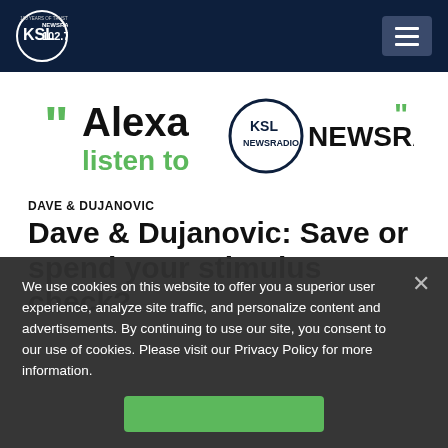KSL NewsRadio 102.7FM — navigation header
[Figure (logo): Alexa listen to KSL NewsRadio promotional banner]
DAVE & DUJANOVIC
Dave & Dujanovic: Save or spend your stimulus check?
We use cookies on this website to offer you a superior user experience, analyze site traffic, and personalize content and advertisements. By continuing to use our site, you consent to our use of cookies. Please visit our Privacy Policy for more information.